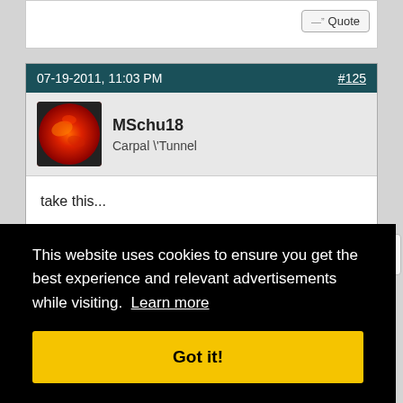07-19-2011, 11:03 PM  #125
MSchu18
Carpal \Tunnel
take this...

You don't have to be the best to win

:/thread
This website uses cookies to ensure you get the best experience and relevant advertisements while visiting. Learn more
Got it!